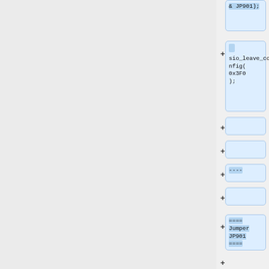& JP901);
sio_leave_config( 0x3F0 );
----
==== Jumper JP901 ====
This is a input signal on the Super